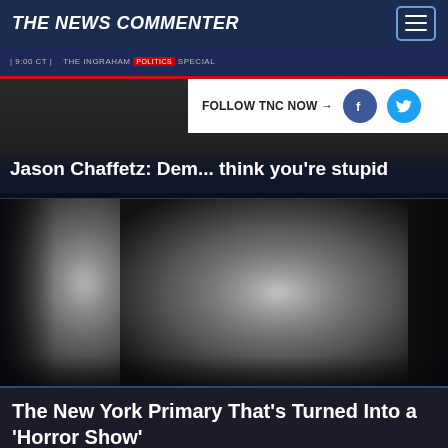THE NEWS COMMENTER
[Figure (screenshot): TV screenshot showing a news broadcast header bar with time stamp 9:00 CT and text THE INGRAHAM show special]
Jason Chaffetz: Dem... think you're stupid
FOLLOW TNC NOW →
[Figure (photo): Black and white close-up photograph of two faces side by side — a lighter-skinned man on the left and a darker-skinned man on the right, both looking forward]
The New York Primary That's Turned Into a 'Horror Show'